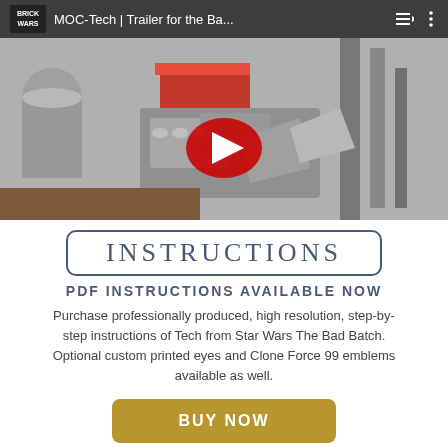[Figure (screenshot): YouTube video thumbnail showing LEGO MOC-Tech Star Wars Bad Batch scene with play button overlay. Video bar shows BrickWars logo and title 'MOC-Tech | Trailer for the Ba...']
INSTRUCTIONS
PDF INSTRUCTIONS AVAILABLE NOW
Purchase professionally produced, high resolution, step-by-step instructions of Tech from Star Wars The Bad Batch. Optional custom printed eyes and Clone Force 99 emblems available as well.
BUY NOW